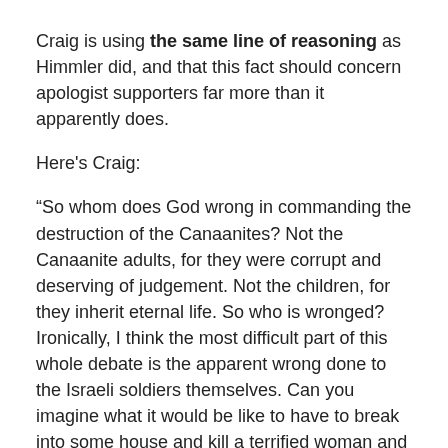Craig is using the same line of reasoning as Himmler did, and that this fact should concern apologist supporters far more than it apparently does.
Here's Craig:
“So whom does God wrong in commanding the destruction of the Canaanites? Not the Canaanite adults, for they were corrupt and deserving of judgement. Not the children, for they inherit eternal life. So who is wronged? Ironically, I think the most difficult part of this whole debate is the apparent wrong done to the Israeli soldiers themselves. Can you imagine what it would be like to have to break into some house and kill a terrified woman and her children? The brutalizing effect on these Israeli soldiers is disturbing.”